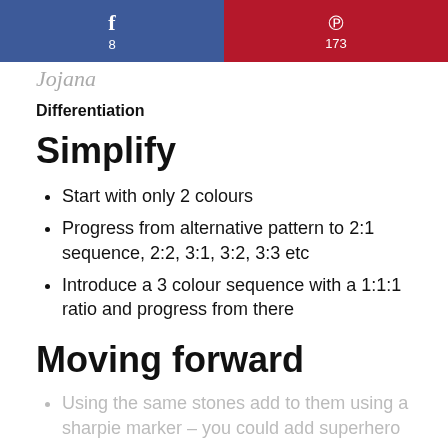[Figure (infographic): Two social share buttons side by side: Facebook (blue, f icon, count 8) and Pinterest (dark red, P icon, count 173)]
[Figure (logo): Cursive handwritten script logo in grey]
Differentiation
Simplify
Start with only 2 colours
Progress from alternative pattern to 2:1 sequence, 2:2, 3:1, 3:2, 3:3 etc
Introduce a 3 colour sequence with a 1:1:1 ratio and progress from there
Moving forward
Using the same stones add to them using a sharpie marker – you could add superhero